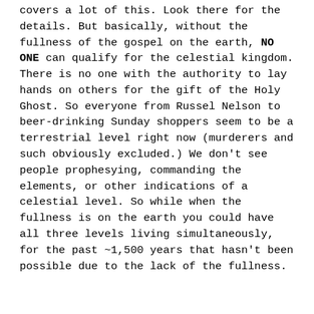covers a lot of this. Look there for the details. But basically, without the fullness of the gospel on the earth, NO ONE can qualify for the celestial kingdom. There is no one with the authority to lay hands on others for the gift of the Holy Ghost. So everyone from Russel Nelson to beer-drinking Sunday shoppers seem to be a terrestrial level right now (murderers and such obviously excluded.) We don't see people prophesying, commanding the elements, or other indications of a celestial level. So while when the fullness is on the earth you could have all three levels living simultaneously, for the past ~1,500 years that hasn't been possible due to the lack of the fullness.